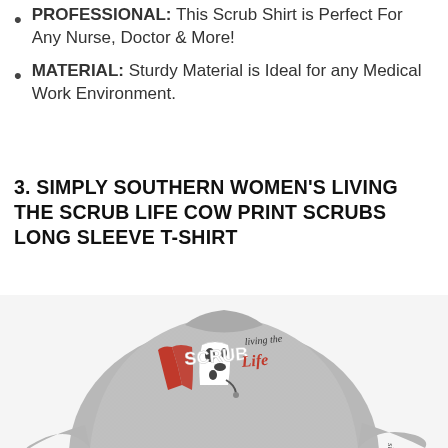PROFESSIONAL: This Scrub Shirt is Perfect For Any Nurse, Doctor & More!
MATERIAL: Sturdy Material is Ideal for any Medical Work Environment.
3. SIMPLY SOUTHERN WOMEN'S LIVING THE SCRUB LIFE COW PRINT SCRUBS LONG SLEEVE T-SHIRT
[Figure (photo): Back view of a grey long-sleeve scrub shirt with a graphic showing 'living the SCRUB Life' text with cow print and red scrubs design, and 'simply' written on the sleeve.]